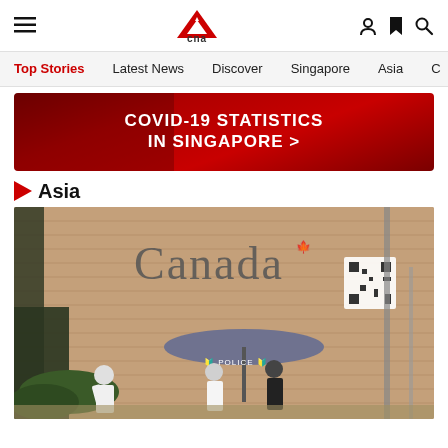CNA - Channel News Asia
Top Stories | Latest News | Discover | Singapore | Asia
[Figure (photo): Red banner with white bold text reading COVID-19 STATISTICS IN SINGAPORE >]
Asia
[Figure (photo): Photo of people walking in front of the Canadian embassy building with a police umbrella tent visible, taken in Beijing/China. The Canada wordmark is visible on the brick wall.]